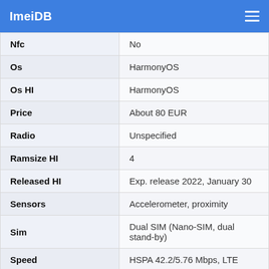ImeiDB
| Nfc | No |
| Os | HarmonyOS |
| Os HI | HarmonyOS |
| Price | About 80 EUR |
| Radio | Unspecified |
| Ramsize HI | 4 |
| Released HI | Exp. release 2022, January 30 |
| Sensors | Accelerometer, proximity |
| Sim | Dual SIM (Nano-SIM, dual stand-by) |
| Speed | HSPA 42.2/5.76 Mbps, LTE |